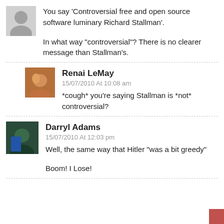You say ‘Controversial free and open source software luminary Richard Stallman’.
In what way “controversial”? There is no clearer message than Stallman’s.
Renai LeMay
15/07/2010 At 10:08 am
*cough* you’re saying Stallman is *not* controversial?
Darryl Adams
15/07/2010 At 12:03 pm
Well, the same way that Hitler “was a bit greedy”
Boom! I Lose!